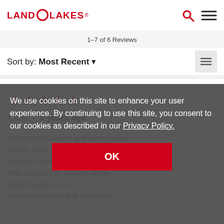LAND O LAKES
1–7 of 6 Reviews
Sort by: Most Recent
[Figure (other): Five red filled stars rating]
Chris · 5 years ago
My favorite autumn and winter quick bread. I like the combination of flavors – more subtle or complex than pumpkin or banana alone. Used sugges... is-- canned pumpkin and individual
We use cookies on this site to enhance your user experience. By continuing to use this site, you consent to our cookies as described in our Privacy Policy.
OK